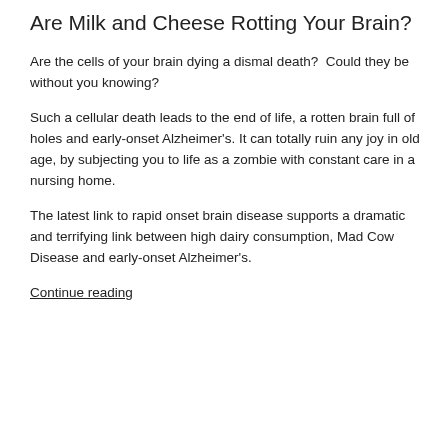Are Milk and Cheese Rotting Your Brain?
Are the cells of your brain dying a dismal death?  Could they be without you knowing?
Such a cellular death leads to the end of life, a rotten brain full of holes and early-onset Alzheimer's. It can totally ruin any joy in old age, by subjecting you to life as a zombie with constant care in a nursing home.
The latest link to rapid onset brain disease supports a dramatic and terrifying link between high dairy consumption, Mad Cow Disease and early-onset Alzheimer's.
Continue reading